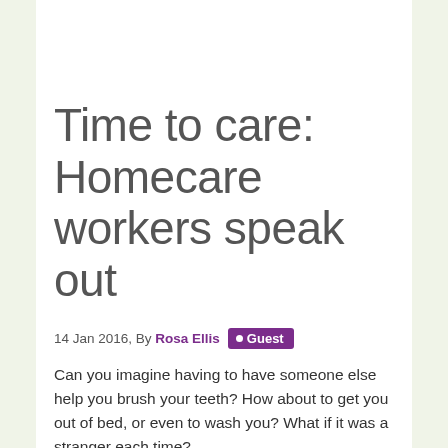Time to care: Homecare workers speak out
14 Jan 2016, By Rosa Ellis • Guest
Can you imagine having to have someone else help you brush your teeth? How about to get you out of bed, or even to wash you? What if it was a stranger each time?
Over half a million adults in the UK rely on homecare workers to help them with these kinds of activities, as well as with health related tasks like